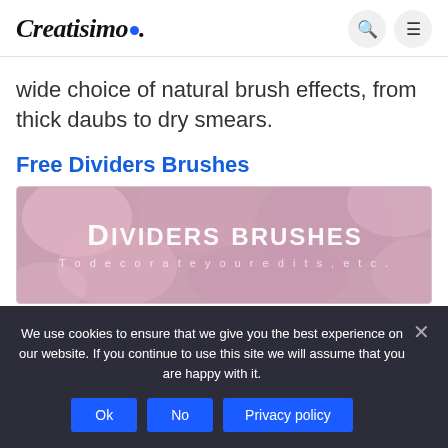Creatisimo.
wide choice of natural brush effects, from thick daubs to dry smears.
Free Dividers Brushes
[Figure (illustration): Image showing 'DIVIDERS BRUSHES — To decorate your edits, etc.' text on a blurred pink/purple floral background]
We use cookies to ensure that we give you the best experience on our website. If you continue to use this site we will assume that you are happy with it.